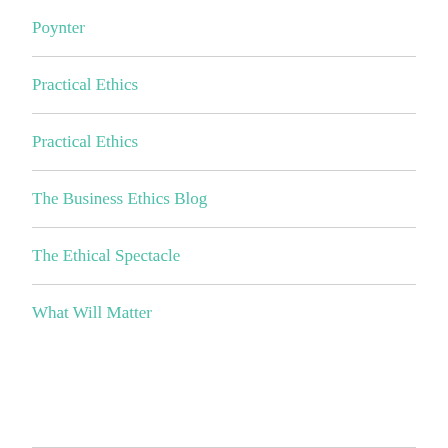Poynter
Practical Ethics
Practical Ethics
The Business Ethics Blog
The Ethical Spectacle
What Will Matter